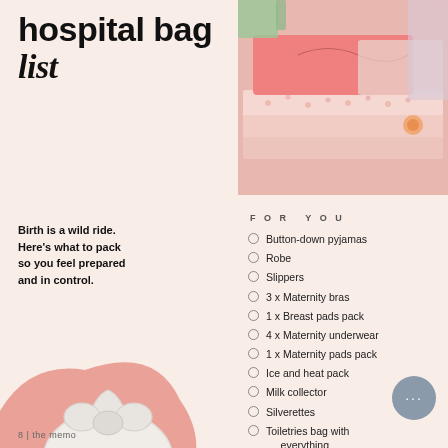hospital bag list
[Figure (photo): Stack of folded pink and floral baby clothes and blankets on a white/pink background with baby items]
Birth is a wild ride. Here's what to pack so you feel prepared and in control.
FOR YOU
Button-down pyjamas
Robe
Slippers
3 x Maternity bras
1 x Breast pads pack
4 x Maternity underwear
1 x Maternity pads pack
Ice and heat pack
Milk collector
Silverettes
Toiletries bag with everything
[Figure (illustration): Baby knotted hat in white/light gray, placed on a pink blob background shape]
8 | the memo